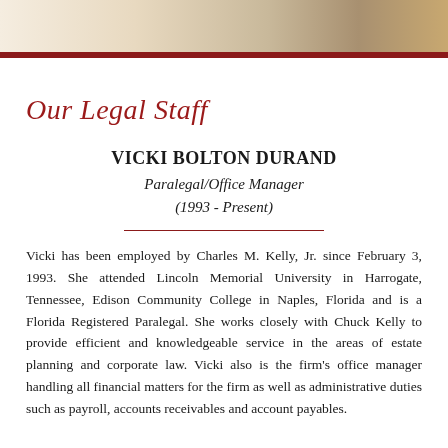[Figure (photo): Header image with warm beige and tan toned background with a dark red horizontal bar at the bottom]
Our Legal Staff
VICKI BOLTON DURAND
Paralegal/Office Manager
(1993 - Present)
Vicki has been employed by Charles M. Kelly, Jr. since February 3, 1993. She attended Lincoln Memorial University in Harrogate, Tennessee, Edison Community College in Naples, Florida and is a Florida Registered Paralegal. She works closely with Chuck Kelly to provide efficient and knowledgeable service in the areas of estate planning and corporate law. Vicki also is the firm’s office manager handling all financial matters for the firm as well as administrative duties such as payroll, accounts receivables and account payables.